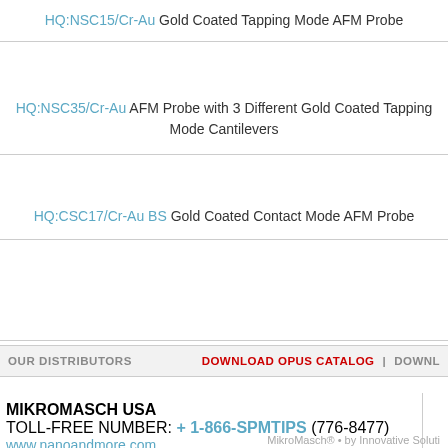HQ:NSC15/Cr-Au Gold Coated Tapping Mode AFM Probe
HQ:NSC35/Cr-Au AFM Probe with 3 Different Gold Coated Tapping Mode Cantilevers
HQ:CSC17/Cr-Au BS Gold Coated Contact Mode AFM Probe
OUR DISTRIBUTORS | DOWNLOAD OPUS CATALOG | DOWNL...
MIKROMASCH USA
TOLL-FREE NUMBER: + 1-866-SPMTIPS (776-8477)
www.nanoandmore.com
MikroMasch® • by Innovative Soluti...
Privacy Policy | Impres...